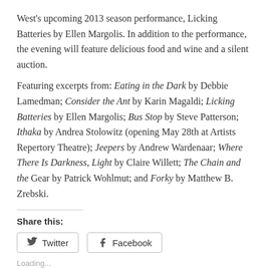West's upcoming 2013 season performance, Licking Batteries by Ellen Margolis. In addition to the performance, the evening will feature delicious food and wine and a silent auction.
Featuring excerpts from: Eating in the Dark by Debbie Lamedman; Consider the Ant by Karin Magaldi; Licking Batteries by Ellen Margolis; Bus Stop by Steve Patterson; Ithaka by Andrea Stolowitz (opening May 28th at Artists Repertory Theatre); Jeepers by Andrew Wardenaar; Where There Is Darkness, Light by Claire Willett; The Chain and the Gear by Patrick Wohlmut; and Forky by Matthew B. Zrebski.
Share this:
Twitter
Facebook
Loading...